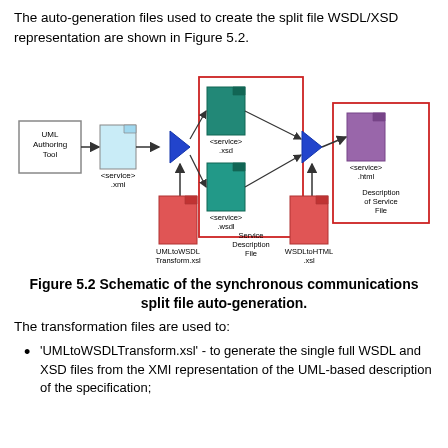The auto-generation files used to create the split file WSDL/XSD representation are shown in Figure 5.2.
[Figure (flowchart): Schematic flowchart showing the synchronous communications split file auto-generation process. Components: UML Authoring Tool box -> <service>.xmi file -> blue triangle (transform node) <- UMLtoWSDLTransform.xsl (red file). Triangle outputs to two teal files within a red-bordered box: <service>.xsd and <service>.wsdl (Service Description File). These connect to a second blue triangle <- WSDLtoHTML.xsl (red file). Second triangle outputs to <service>.html (purple file) within another red-bordered box (Description of Service File).]
Figure 5.2 Schematic of the synchronous communications split file auto-generation.
The transformation files are used to:
'UMLtoWSDLTransform.xsl' - to generate the single full WSDL and XSD files from the XMI representation of the UML-based description of the specification;